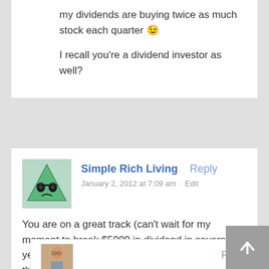my dividends are buying twice as much stock each quarter 😉

I recall you're a dividend investor as well?
Simple Rich Living
January 2, 2012 at 7:09 am · Edit
You are on a great track (can't wait for my moment to break $5000 in dividend in several years perhaps)! $6000 for 2012 sounds like more than doable. Best wishes for 2012!!!
[Figure (illustration): Avatar image: green triangle character with sunglasses and frowning mouth]
[Figure (photo): Partial avatar photo of a person with glasses]